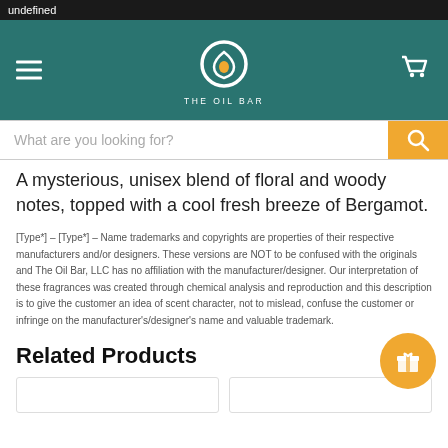undefined
[Figure (logo): The Oil Bar logo: teal circular drop icon with text THE OIL BAR below, hamburger menu left, cart icon right, on teal background]
[Figure (screenshot): Search bar with placeholder 'What are you looking for?' and orange search button]
A mysterious, unisex blend of floral and woody notes, topped with a cool fresh breeze of Bergamot.
[Type*] - [Type*] - Name trademarks and copyrights are properties of their respective manufacturers and/or designers. These versions are NOT to be confused with the originals and The Oil Bar, LLC has no affiliation with the manufacturer/designer. Our interpretation of these fragrances was created through chemical analysis and reproduction and this description is to give the customer an idea of scent character, not to mislead, confuse the customer or infringe on the manufacturer's/designer's name and valuable trademark.
Related Products